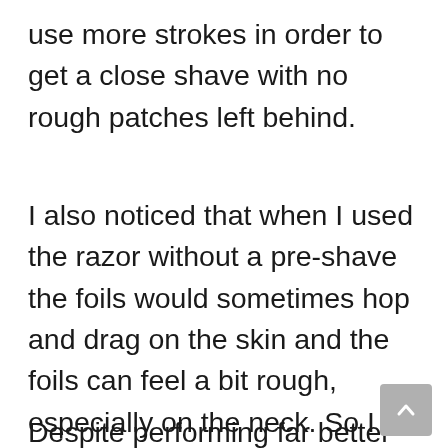use more strokes in order to get a close shave with no rough patches left behind.
I also noticed that when I used the razor without a pre-shave the foils would sometimes hop and drag on the skin and the foils can feel a bit rough, especially on the neck. So I would highly recommend using a pre-shave along with it, they're inexpensive and take seconds to apply.
Despite performing far better than I